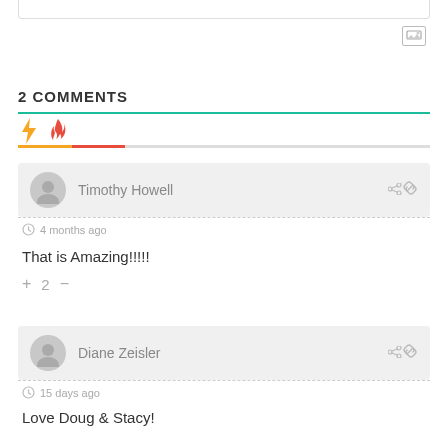2 COMMENTS
[Figure (infographic): Comment section with sorting tabs (lightning bolt and flame icons), two comments by Timothy Howell and Diane Zeisler]
Timothy Howell  4 months ago
That is Amazing!!!!!
+ 2 -
Diane Zeisler  15 days ago
Love Doug & Stacy!